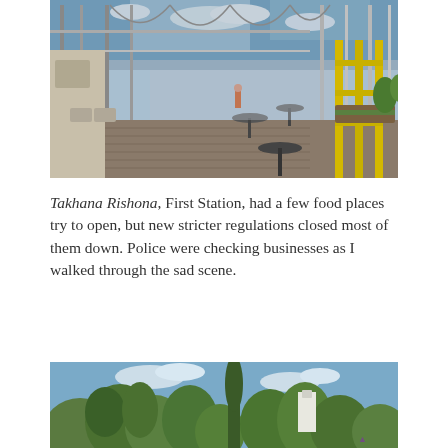[Figure (photo): Interior of Takhana Rishona (First Station) in Jerusalem — an open-air pedestrian walkway under a steel truss and wire canopy structure, with outdoor café furniture, planter boxes, and yellow steel frames visible on the right. The scene appears empty.]
Takhana Rishona, First Station, had a few food places try to open, but new stricter regulations closed most of them down. Police were checking businesses as I walked through the sad scene.
[Figure (photo): View of dense green trees (olive trees, cypress) against a partly cloudy blue sky, with a white building partially visible through the foliage and a purple logo/watermark in the lower right corner.]